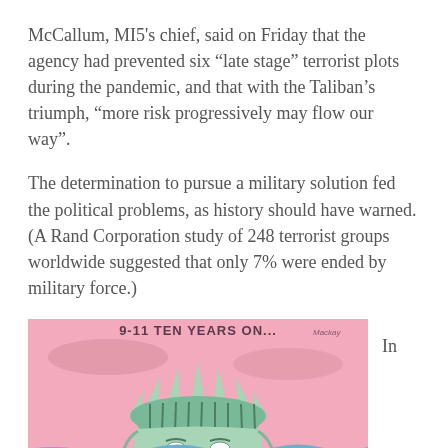McCallum, MI5's chief, said on Friday that the agency had prevented six "late stage" terrorist plots during the pandemic, and that with the Taliban's triumph, "more risk progressively may flow our way".
The determination to pursue a military solution fed the political problems, as history should have warned. (A Rand Corporation study of 248 terrorist groups worldwide suggested that only 7% were ended by military force.)
[Figure (illustration): Political cartoon by Mackay titled '9-11 TEN YEARS ON...' showing the Statue of Liberty submerged from the crown down, with a sad expression, set against a pink sky and blue water.]
In